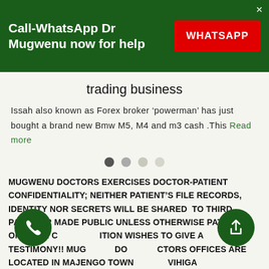Call-WhatsApp Dr Mugwenu now for help | WHATSAPP
trading business
Issah also known as Forex broker ‘powerman’ has just bought a brand new Bmw M5, M4 and m3 cash .This Read more
MUGWENU DOCTORS EXERCISES DOCTOR-PATIENT CONFIDENTIALITY; NEITHER PATIENT’S FILE RECORDS, IDENTITY NOR SECRETS WILL BE SHARED TO THIRD PARTY OR MADE PUBLIC UNLESS OTHERWISE PATIENT/S ON THEIR CONDITION WISHES TO GIVE A TESTIMONY!! MUGWENU DOCTORS OFFICES ARE LOCATED IN MAJENGO TOWN VIHIGA COUNTY WESTERN